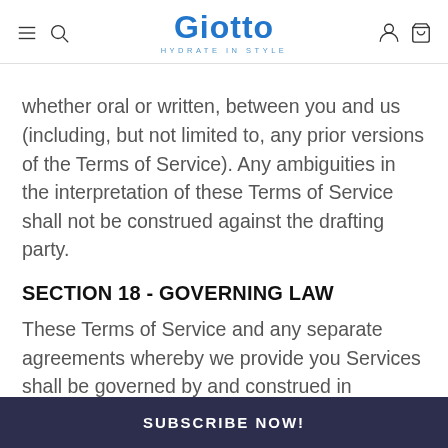Giotto — HYDRATE IN STYLE
whether oral or written, between you and us (including, but not limited to, any prior versions of the Terms of Service). Any ambiguities in the interpretation of these Terms of Service shall not be construed against the drafting party.
SECTION 18 - GOVERNING LAW
These Terms of Service and any separate agreements whereby we provide you Services shall be governed by and construed in
SUBSCRIBE NOW!